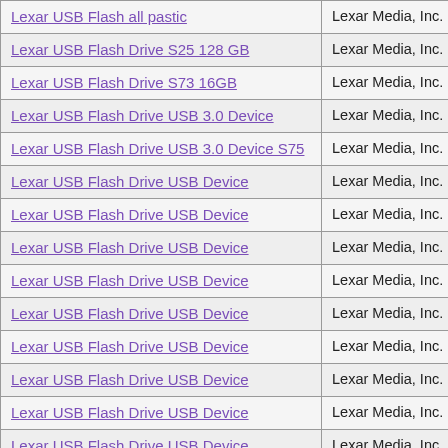| Product | Manufacturer |
| --- | --- |
| Lexar USB Flash all pastic | Lexar Media, Inc. |
| Lexar USB Flash Drive S25 128 GB | Lexar Media, Inc. |
| Lexar USB Flash Drive S73 16GB | Lexar Media, Inc. |
| Lexar USB Flash Drive USB 3.0 Device | Lexar Media, Inc. |
| Lexar USB Flash Drive USB 3.0 Device S75 | Lexar Media, Inc. |
| Lexar USB Flash Drive USB Device | Lexar Media, Inc. |
| Lexar USB Flash Drive USB Device | Lexar Media, Inc. |
| Lexar USB Flash Drive USB Device | Lexar Media, Inc. |
| Lexar USB Flash Drive USB Device | Lexar Media, Inc. |
| Lexar USB Flash Drive USB Device | Lexar Media, Inc. |
| Lexar USB Flash Drive USB Device | Lexar Media, Inc. |
| Lexar USB Flash Drive USB Device | Lexar Media, Inc. |
| Lexar USB Flash Drive USB Device | Lexar Media, Inc. |
| Lexar USB Flash Drive USB Device | Lexar Media, Inc. |
| Lexar USB Flash Drive USB Device | Lexar Media, Inc. |
| Lexar USB Flash Drive USB Device | Lexar Media, Inc. |